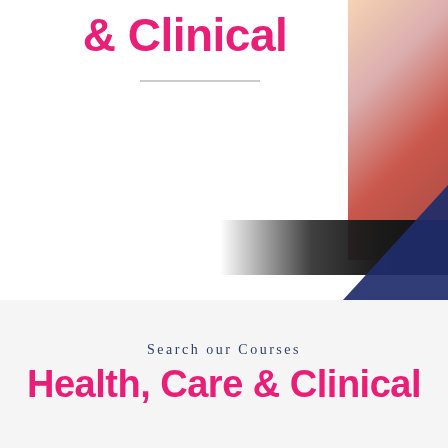& Clinical
[Figure (photo): Partial view of a person and a laptop with a dark background, with a dark navy blue triangle shape overlaid in the upper right area of the page]
Search our Courses
Health, Care & Clinical